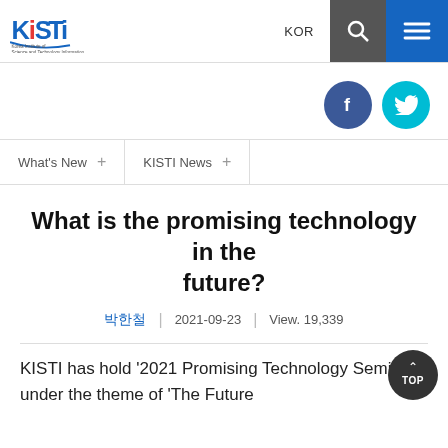KISTI - Korea Institute of Science and Technology Information | KOR
[Figure (logo): KISTI logo with text 'Korea Institute of Science and Technology Information']
[Figure (infographic): Facebook and Twitter social media circle icon buttons]
What's New +   KISTI News +
What is the promising technology in the future?
박한철  |  2021-09-23  |  View. 19,339
KISTI has hold '2021 Promising Technology Seminar' under the theme of 'The Future